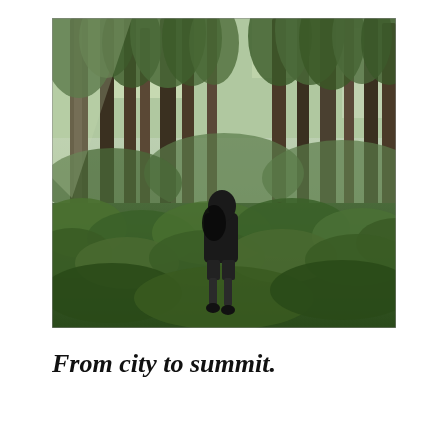[Figure (photo): A person wearing dark clothing and shorts, viewed from behind, walking through a lush green forest with tall trees and dense undergrowth of ferns and low plants.]
From city to summit.